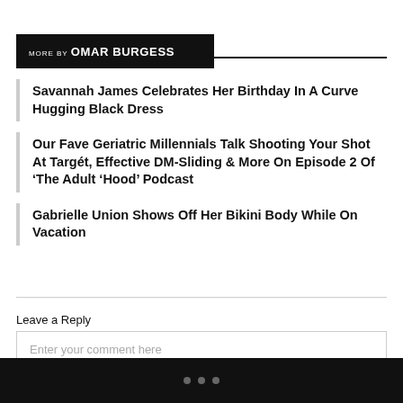MORE BY OMAR BURGESS
Savannah James Celebrates Her Birthday In A Curve Hugging Black Dress
Our Fave Geriatric Millennials Talk Shooting Your Shot At Targét, Effective DM-Sliding & More On Episode 2 Of ‘The Adult ‘Hood’ Podcast
Gabrielle Union Shows Off Her Bikini Body While On Vacation
Leave a Reply
Enter your comment here